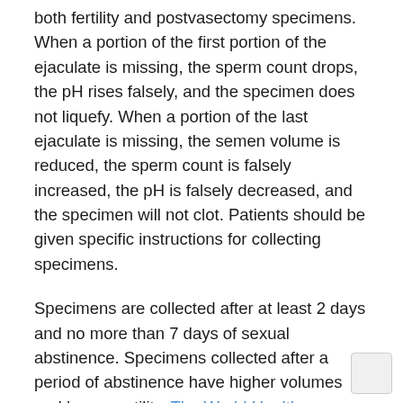both fertility and postvasectomy specimens. When a portion of the first portion of the ejaculate is missing, the sperm count drops, the pH rises falsely, and the specimen does not liquefy. When a portion of the last ejaculate is missing, the semen volume is reduced, the sperm count is falsely increased, the pH is falsely decreased, and the specimen will not clot. Patients should be given specific instructions for collecting specimens.
Specimens are collected after at least 2 days and no more than 7 days of sexual abstinence. Specimens collected after a period of abstinence have higher volumes and lower motility. The World Health Organization (WHO) recommends that two or three samples be collected no less than seven days apart and no more than three weeks apart when performing fertility testing, with two abnormal samples considered significant. Warm sterile glass or plastic containers should be provided to the patient by